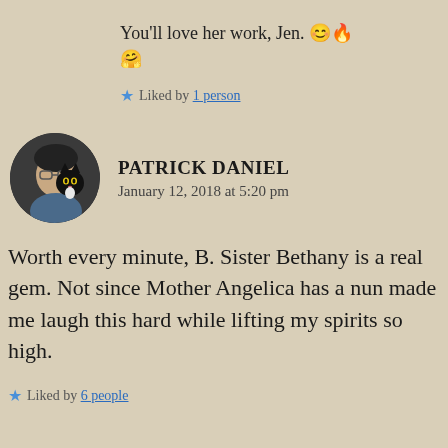You'll love her work, Jen. 😊🔥🤗
★ Liked by 1 person
PATRICK DANIEL
January 12, 2018 at 5:20 pm
[Figure (photo): Circular avatar photo of Patrick Daniel, a man holding a black cat]
Worth every minute, B. Sister Bethany is a real gem. Not since Mother Angelica has a nun made me laugh this hard while lifting my spirits so high.
★ Liked by 6 people